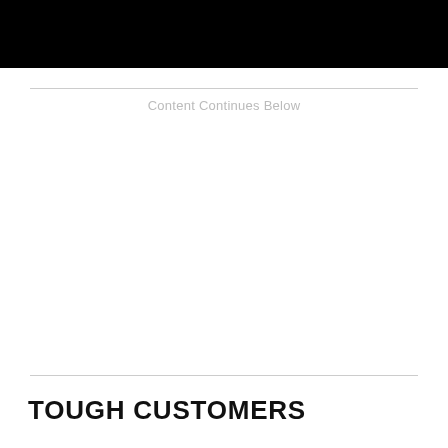Content Continues Below
TOUGH CUSTOMERS